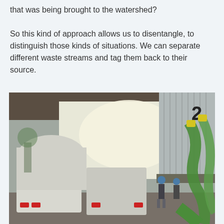that was being brought to the watershed?

So this kind of approach allows us to disentangle, to distinguish those kinds of situations. We can separate different waste streams and tag them back to their source.
[Figure (photo): Photograph of industrial facility showing tanker trucks parked inside a large warehouse/bay structure. Workers wearing hard hats are visible in the background. Large green flexible hoses/pipes are visible on the right side. A number '2' is visible on the corrugated metal wall. The facility appears to be a waste processing or transfer station.]